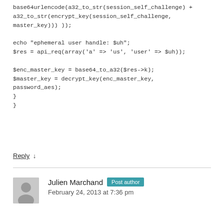base64urlencode(a32_to_str(session_self_challenge) + a32_to_str(encrypt_key(session_self_challenge, master_key))) ));

echo "ephemeral user handle: $uh";
$res = api_req(array('a' => 'us', 'user' => $uh));

$enc_master_key = base64_to_a32($res->k);
$master_key = decrypt_key(enc_master_key, password_aes);
}
}
Reply ↓
Julien Marchand  Post author
February 24, 2013 at 7:36 pm